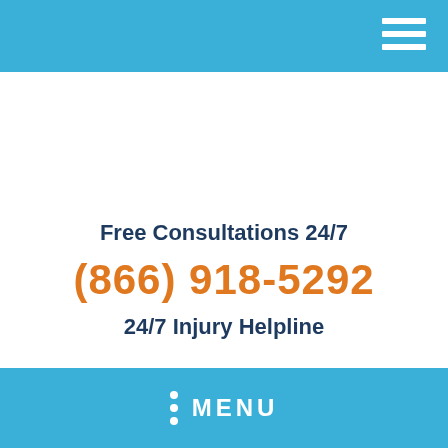Free Consultations 24/7
(866) 918-5292
24/7 Injury Helpline
MENU